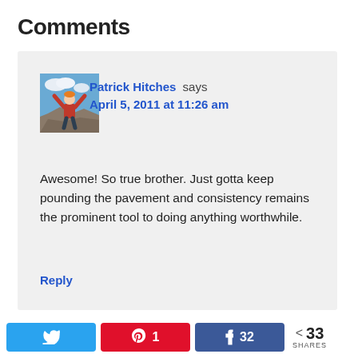Comments
[Figure (illustration): User avatar photo of Patrick Hitches - person with arms raised on a rocky outcrop against a blue sky]
Patrick Hitches says
April 5, 2011 at 11:26 am
Awesome! So true brother. Just gotta keep pounding the pavement and consistency remains the prominent tool to doing anything worthwhile.
Reply
Twitter share button | Pinterest 1 | Facebook 32 | 33 SHARES